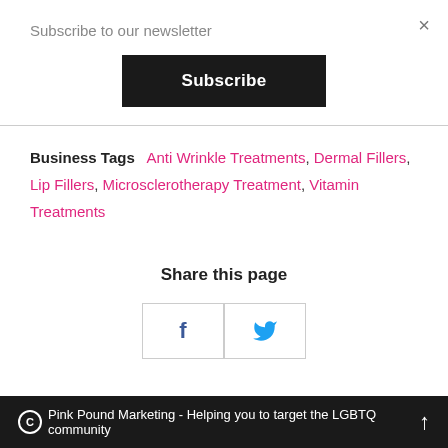× (close button)
Subscribe to our newsletter
Subscribe (button)
Business Tags  Anti Wrinkle Treatments, Dermal Fillers, Lip Fillers, Microsclerotherapy Treatment, Vitamin Treatments
Share this page
[Figure (other): Facebook and Twitter share buttons]
© Pink Pound Marketing - Helping you to target the LGBTQ community